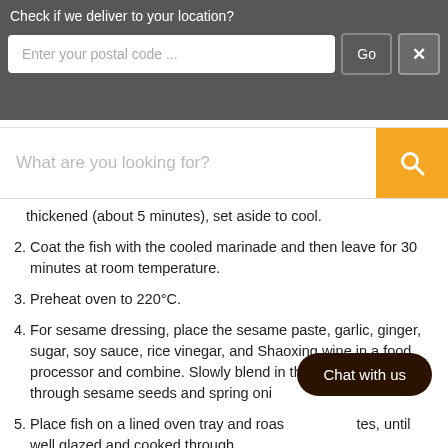Check if we deliver to your location?
Enter your postal code ...
What are you looking for?
thickened (about 5 minutes), set aside to cool.
2. Coat the fish with the cooled marinade and then leave for 30 minutes at room temperature.
3. Preheat oven to 220°C.
4. For sesame dressing, place the sesame paste, garlic, ginger, sugar, soy sauce, rice vinegar, and Shaoxing wine in a food processor and combine. Slowly blend in the sesame oil. Stir through sesame seeds and spring onio
5. Place fish on a lined oven tray and roas         utes, until well glazed and cooked through.